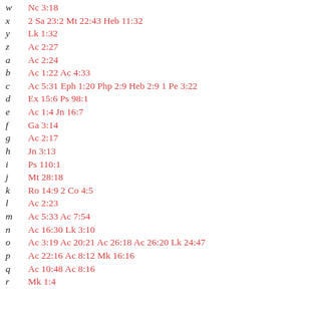w  Nc 3:18
x  2 Sa 23:2 Mt 22:43 Heb 11:32
y  Lk 1:32
z  Ac 2:27
a  Ac 2:24
b  Ac 1:22 Ac 4:33
c  Ac 5:31 Eph 1:20 Php 2:9 Heb 2:9 1 Pe 3:22
d  Ex 15:6 Ps 98:1
e  Ac 1:4 Jn 16:7
f  Ga 3:14
g  Ac 2:17
h  Jn 3:13
i  Ps 110:1
j  Mt 28:18
k  Ro 14:9 2 Co 4:5
l  Ac 2:23
m  Ac 5:33 Ac 7:54
n  Ac 16:30 Lk 3:10
o  Ac 3:19 Ac 20:21 Ac 26:18 Ac 26:20 Lk 24:47
p  Ac 22:16 Ac 8:12 Mk 16:16
q  Ac 10:48 Ac 8:16
r  Mk 1:4